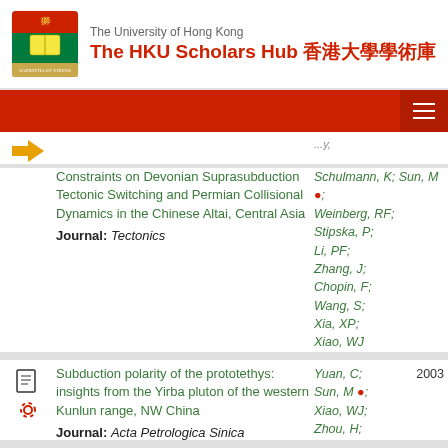The University of Hong Kong | The HKU Scholars Hub 香港大學學術庫
Constraints on Devonian Suprasubduction Tectonic Switching and Permian Collisional Dynamics in the Chinese Altai, Central Asia | Journal: Tectonics | Authors: Schulmann, K; Sun, M; [author icon]; Weinberg, RF; Stipska, P; Li, PF; Zhang, J; Chopin, F; Wang, S; Xia, XP; Xiao, WJ
Subduction polarity of the prototethys: insights from the Yirba pluton of the western Kunlun range, NW China | Journal: Acta Petrologica Sinica | Authors: Yuan, C; Sun, M [author icon]; Xiao, WJ; Zhou, H; | Year: 2003